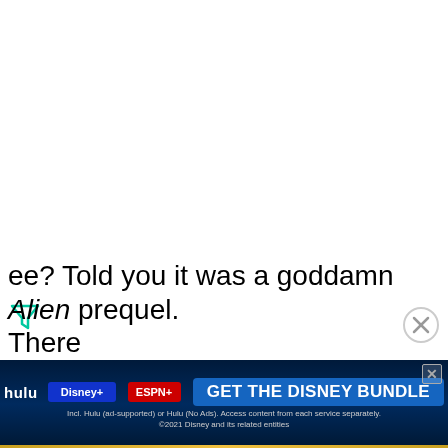See? Told you it was a goddamn Alien prequel. There...
[Figure (infographic): Advertisement banner for Disney Bundle (Hulu, Disney+, ESPN+) at the bottom of the page with dark blue background and a gold/yellow accent line at the very bottom. Contains logos and 'GET THE DISNEY BUNDLE' call-to-action button.]